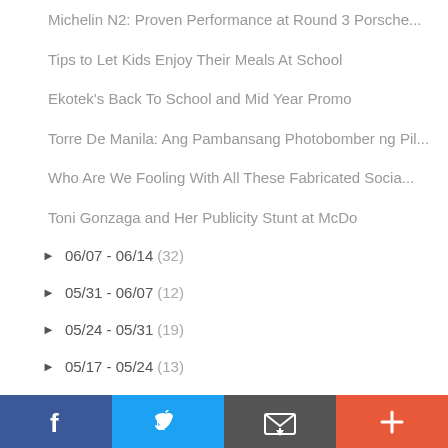Michelin N2: Proven Performance at Round 3 Porsche...
Tips to Let Kids Enjoy Their Meals At School
Ekotek's Back To School and Mid Year Promo
Torre De Manila: Ang Pambansang Photobomber ng Pil...
Who Are We Fooling With All These Fabricated Socia...
Toni Gonzaga and Her Publicity Stunt at McDo
► 06/07 - 06/14 (32)
► 05/31 - 06/07 (12)
► 05/24 - 05/31 (19)
► 05/17 - 05/24 (13)
► 05/10 - 05/17 (29)
► 05/03 - 05/10 (34)